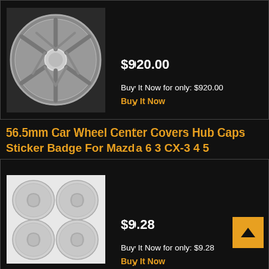[Figure (photo): Silver multi-spoke alloy wheel/rim product photo]
$920.00
Buy It Now for only: $920.00
Buy It Now
56.5mm Car Wheel Center Covers Hub Caps Sticker Badge For Mazda 6 3 CX-3 4 5
[Figure (photo): Four silver Mazda hub cap center cover stickers/badges product photo]
$9.28
Buy It Now for only: $9.28
Buy It Now